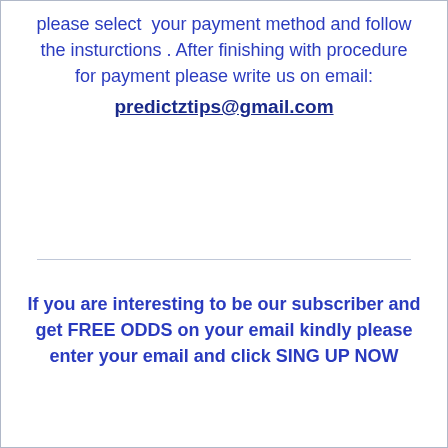please select  your payment method and follow the insturctions . After finishing with procedure for payment please write us on email: predictztips@gmail.com
If you are interesting to be our subscriber and get FREE ODDS on your email kindly please enter your email and click SING UP NOW